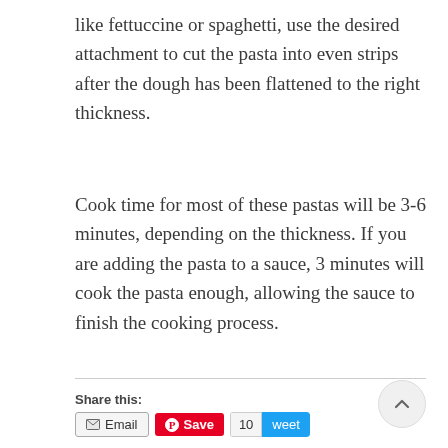like fettuccine or spaghetti, use the desired attachment to cut the pasta into even strips after the dough has been flattened to the right thickness.
Cook time for most of these pastas will be 3-6 minutes, depending on the thickness. If you are adding the pasta to a sauce, 3 minutes will cook the pasta enough, allowing the sauce to finish the cooking process.
Share this: